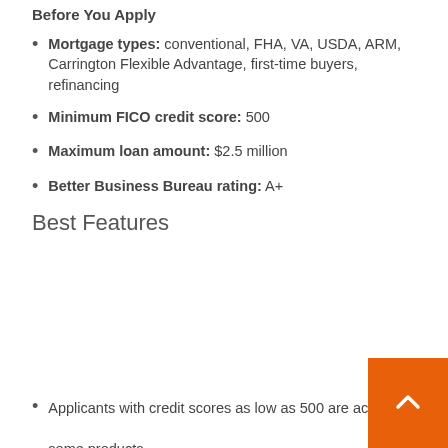Before You Apply
Mortgage types: conventional, FHA, VA, USDA, ARM, Carrington Flexible Advantage, first-time buyers, refinancing
Minimum FICO credit score: 500
Maximum loan amount: $2.5 million
Better Business Bureau rating: A+
Best Features
Applicants with credit scores as low as 500 are accepted for some products.